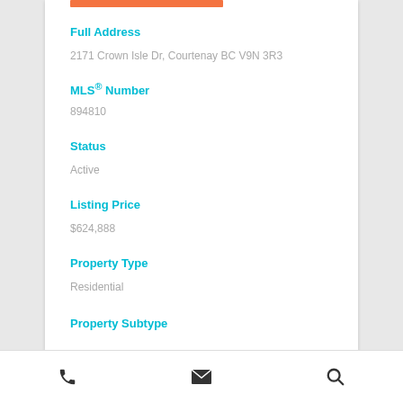Full Address
2171 Crown Isle Dr, Courtenay BC V9N 3R3
MLS® Number
894810
Status
Active
Listing Price
$624,888
Property Type
Residential
Property Subtype